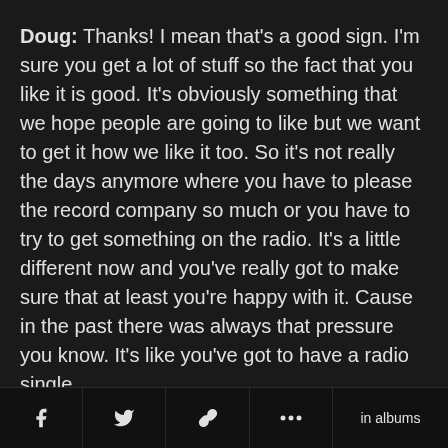Doug: Thanks! I mean that's a good sign. I'm sure you get a lot of stuff so the fact that you like it is good. It's obviously something that we hope people are going to like but we want to get it how we like it too. So it's not really the days anymore where you have to please the record company so much or you have to try to get something on the radio. It's a little different now and you've really got to make sure that at least you're happy with it. Cause in the past there was always that pressure you know. It's like you've got to have a radio single.
f  [twitter]  [link]  ...  in albums